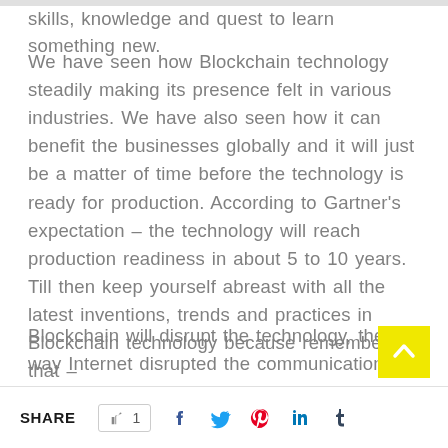skills, knowledge and quest to learn something new.
We have seen how Blockchain technology steadily making its presence felt in various industries. We have also seen how it can benefit the businesses globally and it will just be a matter of time before the technology is ready for production. According to Gartner's expectation – the technology will reach production readiness in about 5 to 10 years. Till then keep yourself abreast with all the latest inventions, trends and practices in Blockchain technology because remember that –
Blockchain will disrupt the technology, the way Internet disrupted the communication!
SHARE  👍 1  f  🐦  ⊕  in  t